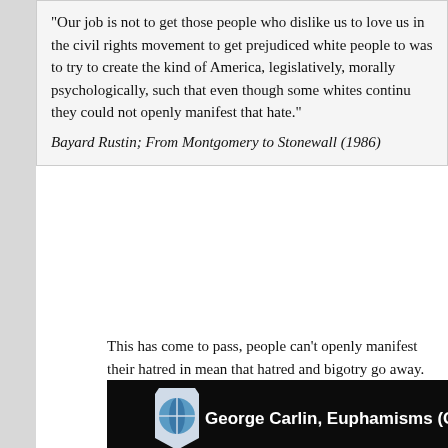"Our job is not to get those people who dislike us to love us in the civil rights movement to get prejudiced white people to was to try to create the kind of America, legislatively, morally psychologically, such that even though some whites continuu they could not openly manifest that hate."
Bayard Rustin; From Montgomery to Stonewall (1986)
This has come to pass, people can't openly manifest their hatred in mean that hatred and bigotry go away. Bigots have found other mea into society. Social conservatives do this frequently. They will talk a family" being under attack, or that the transgender agenda is destro
[Figure (screenshot): YouTube video embed showing George Carlin, Euphamisms (CLEAN) with a play button overlay and a person on stage in a dark setting]